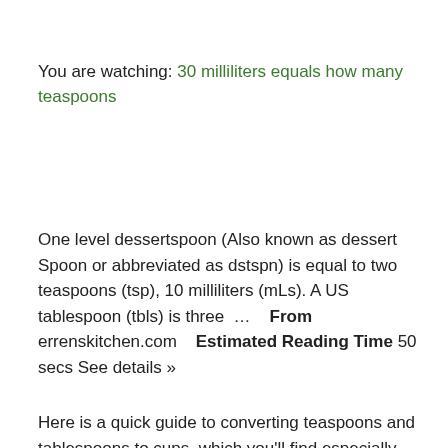You are watching: 30 milliliters equals how many teaspoons
One level dessertspoon (Also known as dessert Spoon or abbreviated as dstspn) is equal to two teaspoons (tsp), 10 milliliters (mLs). A US tablespoon (tbls) is three …    From errenskitchen.com    Estimated Reading Time 50 secs See details »
Here is a quick guide to converting teaspoons and tablespoons to cups, which you'll find especially helpful when doubling, tripling, or more, any recipe